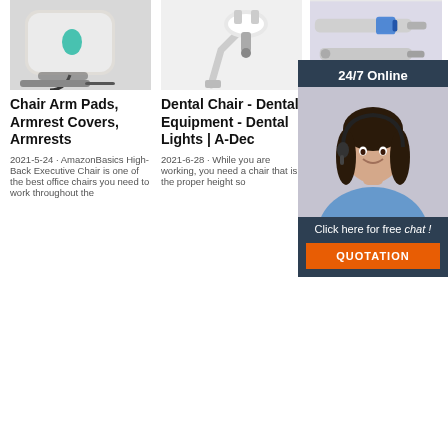[Figure (photo): Dental equipment / polishing machine with handpiece on white background]
Chair Arm Pads, Armrest Covers, Armrests
2021-5-24 · AmazonBasics High-Back Executive Chair is one of the best office chairs you need to work throughout the
[Figure (photo): Dental microscope / surgical microscope on articulated arm, white]
Dental Chair - Dental Equipment - Dental Lights | A-Dec
2021-6-28 · While you are working, you need a chair that is the proper height so
[Figure (photo): Dental handpieces / drill tools on lavender background]
20 Best Ergonomic Office Chairs for Work From Home
Now: R2,090.00. Was: Generic Eames High-back Office Chair Standard Features Swivel
[Figure (photo): 24/7 Online chat widget with customer service agent wearing headset]